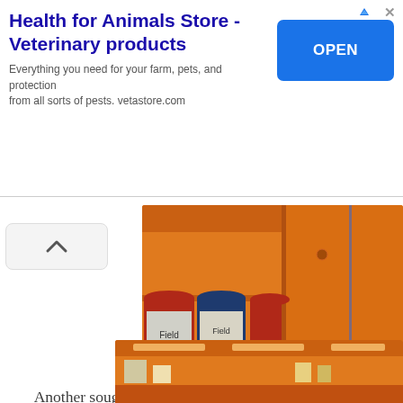[Figure (screenshot): Advertisement banner for Health for Animals Store - Veterinary products with an OPEN button on the right and a close/arrow icon]
[Figure (photo): Partial photo of orange-colored pet store shelving with cans of pet food (Field brand) visible on the left]
Another sought after service at Petsmore is said to be service – Micro Bubbles SPA System. Your pets wi pampering treat as this Micro Bubbles SPA System offe cleansing, deodorization and moisturization of fur a itchiness, and leaving the pets with a calming effect. T SPA System is strictly hypoallergenic and improves while enhancing the immunity of pe
[Figure (photo): Partial bottom photo of an orange-colored pet store interior]